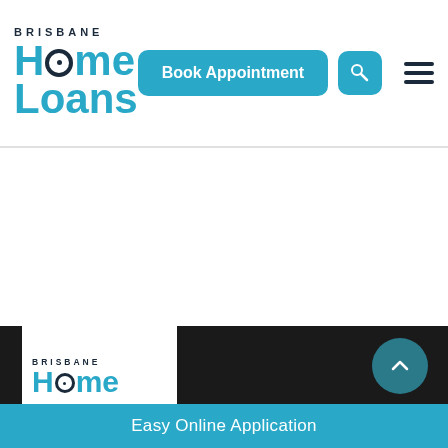[Figure (logo): Brisbane Home Loans logo with teal and dark navy text, featuring a house icon inside the letter O]
[Figure (screenshot): Book Appointment teal rounded button and search icon button]
[Figure (screenshot): Hamburger menu icon (three horizontal dark lines)]
[Figure (logo): Brisbane Home Loans white box logo in dark footer area]
[Figure (screenshot): Teal circular scroll-to-top arrow button]
Easy Online Application